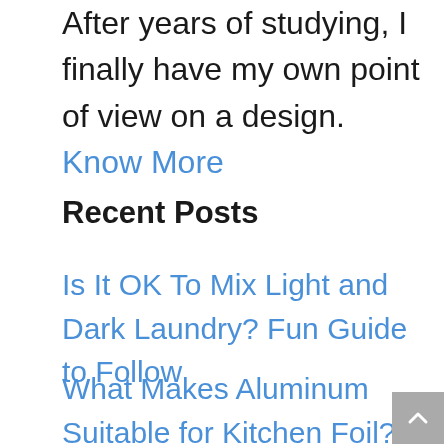After years of studying, I finally have my own point of view on a design. Know More
Recent Posts
Is It OK To Mix Light and Dark Laundry? Fun Guide to Follow
What Makes Aluminum Suitable for Kitchen Foil? Simple Answer